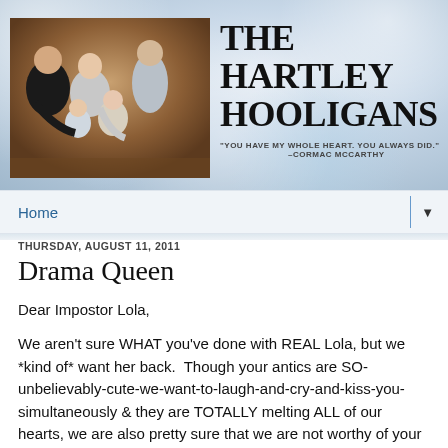[Figure (photo): Blog header banner with bokeh light background. Contains a family portrait photo on the left (family of 5 with adults and children against brown studio background) and blog title 'THE HARTLEY HOOLIGANS' with tagline quote on the right.]
Home ▼
THURSDAY, AUGUST 11, 2011
Drama Queen
Dear Impostor Lola,
We aren't sure WHAT you've done with REAL Lola, but we *kind of* want her back.  Though your antics are SO-unbelievably-cute-we-want-to-laugh-and-cry-and-kiss-you-simultaneously & they are TOTALLY melting ALL of our hearts, we are also pretty sure that we are not worthy of your drama dump this past few weeks.  Our relationshit (not a